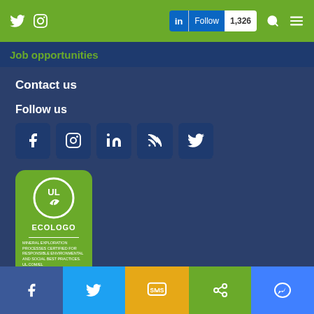Twitter Instagram | LinkedIn Follow 1,326 | Search | Menu
Job opportunities
Contact us
Follow us
[Figure (logo): Social media icons: Facebook, Instagram, LinkedIn, RSS, Twitter]
[Figure (logo): UL ECOLOGO certification badge - green rounded rectangle with UL logo circle and text: ECOLOGO, MINERAL EXPLORATION PROCESSES CERTIFIED FOR RESPONSIBLE ENVIRONMENTAL AND SOCIAL BEST PRACTICES. UL.COM/EL UL2723]
Facebook | Twitter | SMS | Share | Messenger